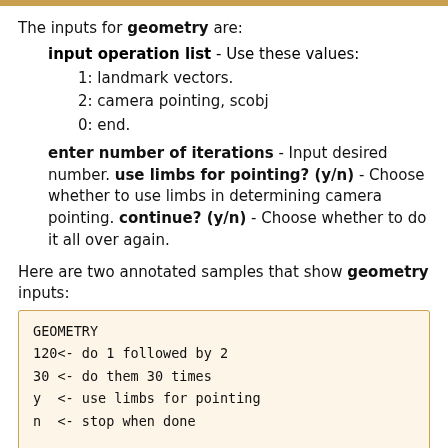The inputs for geometry are:
input operation list - Use these values:
1: landmark vectors.
2: camera pointing, scobj
0: end.
enter number of iterations - Input desired number. use limbs for pointing? (y/n) - Choose whether to use limbs in determining camera pointing. continue? (y/n) - Choose whether to do it all over again.
Here are two annotated samples that show geometry inputs:
GEOMETRY
120<- do 1 followed by 2
30 <- do them 30 times
y  <- use limbs for pointing
n  <- stop when done

GEOMETRY
20 <- do 2 only